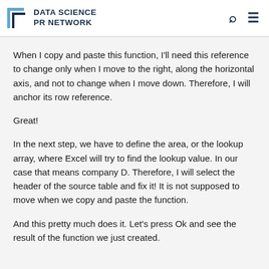DATA SCIENCE PR NETWORK
When I copy and paste this function, I'll need this reference to change only when I move to the right, along the horizontal axis, and not to change when I move down. Therefore, I will anchor its row reference.
Great!
In the next step, we have to define the area, or the lookup array, where Excel will try to find the lookup value. In our case that means company D. Therefore, I will select the header of the source table and fix it! It is not supposed to move when we copy and paste the function.
And this pretty much does it. Let's press Ok and see the result of the function we just created.